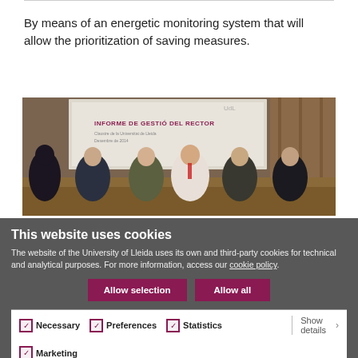By means of an energetic monitoring system that will allow the prioritization of saving measures.
[Figure (photo): Photo of a university panel presentation. Five or six people seated at a long table in front of a projection screen showing 'INFORME DE GESTIÓ DEL RECTOR' in a university auditorium with wooden paneling.]
This website uses cookies
The website of the University of Lleida uses its own and third-party cookies for technical and analytical purposes. For more information, access our cookie policy.
Allow selection   Allow all
Necessary  Preferences  Statistics  Marketing  Show details